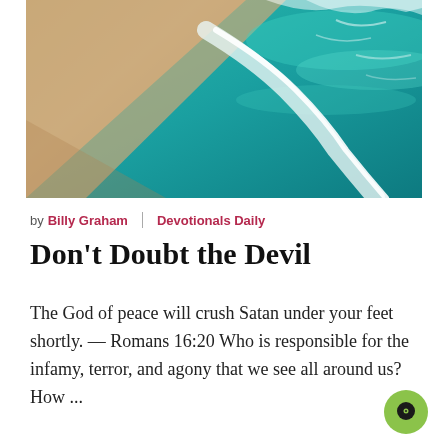[Figure (photo): Aerial view of a beach with sandy shore and turquoise ocean waves meeting in a curving line]
by Billy Graham | Devotionals Daily
Don't Doubt the Devil
The God of peace will crush Satan under your feet shortly. — Romans 16:20 Who is responsible for the infamy, terror, and agony that we see all around us? How ...